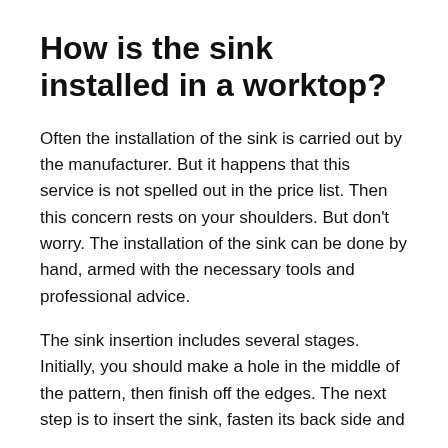How is the sink installed in a worktop?
Often the installation of the sink is carried out by the manufacturer. But it happens that this service is not spelled out in the price list. Then this concern rests on your shoulders. But don't worry. The installation of the sink can be done by hand, armed with the necessary tools and professional advice.
The sink insertion includes several stages. Initially, you should make a hole in the middle of the pattern, then finish off the edges. The next step is to insert the sink, fasten its back side and